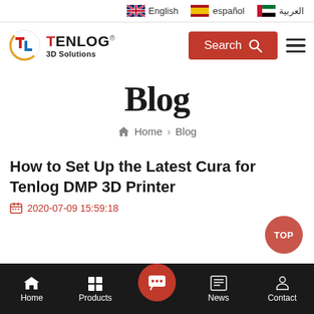English  español  العربية
[Figure (logo): Tenlog 3D Solutions logo with circular TL icon in red and blue, company name in bold black with colored T and L letters, subtitle '3D Solutions']
Search
Blog
🏠 Home › Blog
How to Set Up the Latest Cura for Tenlog DMP 3D Printer
2020-07-09 15:59:18
Home  Products  News  Contact